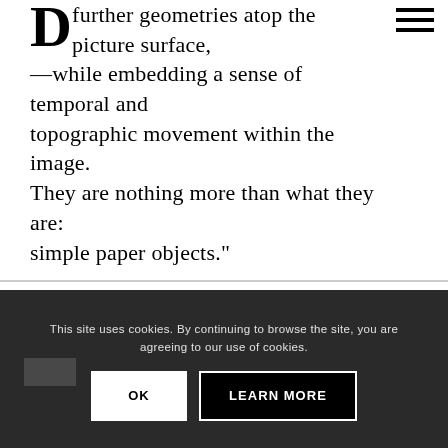further geometries atop the picture surface,—while embedding a sense of temporal and topographic movement within the image. They are nothing more than what they are: simple paper objects.”
This site uses cookies. By continuing to browse the site, you are agreeing to our use of cookies.